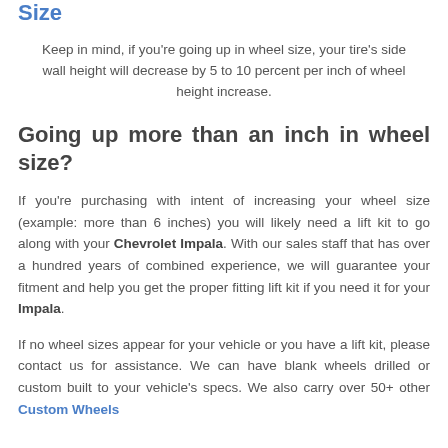Selecting Your Vehicle's Wheel Size
Keep in mind, if you're going up in wheel size, your tire's side wall height will decrease by 5 to 10 percent per inch of wheel height increase.
Going up more than an inch in wheel size?
If you're purchasing with intent of increasing your wheel size (example: more than 6 inches) you will likely need a lift kit to go along with your Chevrolet Impala. With our sales staff that has over a hundred years of combined experience, we will guarantee your fitment and help you get the proper fitting lift kit if you need it for your Impala.
If no wheel sizes appear for your vehicle or you have a lift kit, please contact us for assistance. We can have blank wheels drilled or custom built to your vehicle's specs. We also carry over 50+ other Custom Wheels